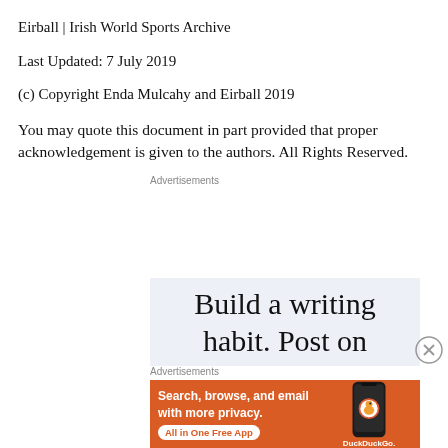Eirball | Irish World Sports Archive
Last Updated: 7 July 2019
(c) Copyright Enda Mulcahy and Eirball 2019
You may quote this document in part provided that proper acknowledgement is given to the authors. All Rights Reserved.
Advertisements
[Figure (screenshot): Advertisement banner showing 'Build a writing habit. Post on' text on light blue background]
[Figure (screenshot): DuckDuckGo advertisement on orange background: 'Search, browse, and email with more privacy. All in One Free App' with phone image and DuckDuckGo logo]